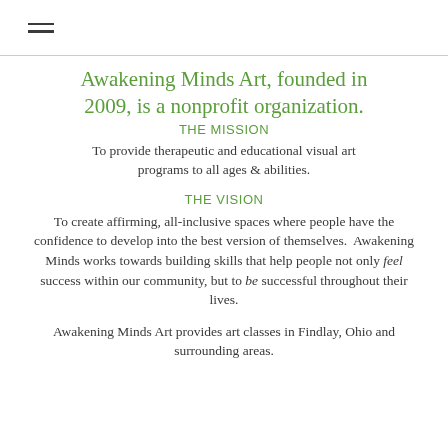≡
Awakening Minds Art, founded in 2009, is a nonprofit organization.
THE MISSION
To provide therapeutic and educational visual art programs to all ages & abilities.
THE VISION
To create affirming, all-inclusive spaces where people have the confidence to develop into the best version of themselves.  Awakening Minds works towards building skills that help people not only feel success within our community, but to be successful throughout their lives.
Awakening Minds Art provides art classes in Findlay, Ohio and surrounding areas.